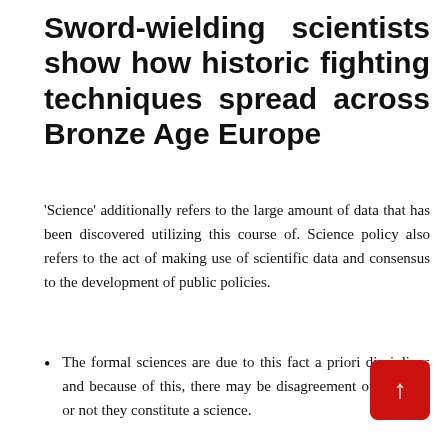Sword-wielding scientists show how historic fighting techniques spread across Bronze Age Europe
'Science' additionally refers to the large amount of data that has been discovered utilizing this course of. Science policy also refers to the act of making use of scientific data and consensus to the development of public policies.
The formal sciences are due to this fact a priori disciplines and because of this, there may be disagreement on whether or not they constitute a science.